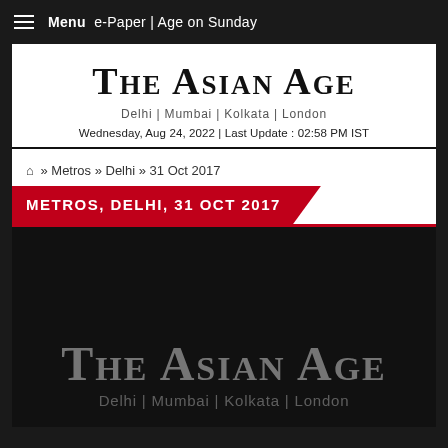Menu  e-Paper | Age on Sunday
The Asian Age
Delhi | Mumbai | Kolkata | London
Wednesday, Aug 24, 2022 | Last Update : 02:58 PM IST
🏠 » Metros » Delhi » 31 Oct 2017
METROS, DELHI, 31 OCT 2017
[Figure (logo): The Asian Age watermark logo with text 'Delhi | Mumbai | Kolkata | London' on dark background]